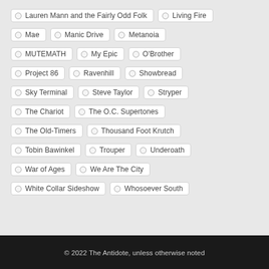Lauren Mann and the Fairly Odd Folk
Living Fire
Mae
Manic Drive
Metanoia
MUTEMATH
My Epic
O'Brother
Project 86
Ravenhill
Showbread
Sky Terminal
Steve Taylor
Stryper
The Chariot
The O.C. Supertones
The Old-Timers
Thousand Foot Krutch
Tobin Bawinkel
Trouper
Underoath
War of Ages
We Are The City
White Collar Sideshow
Whosoever South
© 2022 The Antidote, unless otherwise noted